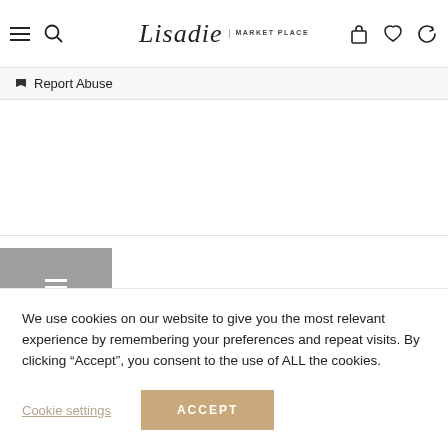Lisadie MARKET PLACE
Report Abuse
Shipping
Reviews (0)
Vendor Info
We use cookies on our website to give you the most relevant experience by remembering your preferences and repeat visits. By clicking “Accept”, you consent to the use of ALL the cookies.
Cookie settings
ACCEPT